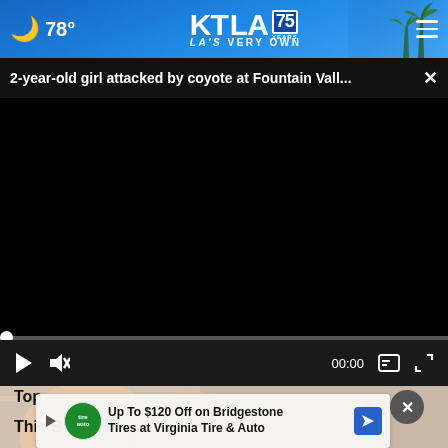78° KTLA 75 YEARS LA'S VERY OWN
2-year-old girl attacked by coyote at Fountain Vall... ×
[Figure (screenshot): Black video player area with progress bar at zero, playback controls showing play button, mute button, time 00:00, captions and fullscreen buttons]
[Figure (photo): Partial image of a child's face visible below the video player]
Top
This Befo Pell
Up To $120 Off on Bridgestone Tires at Virginia Tire & Auto